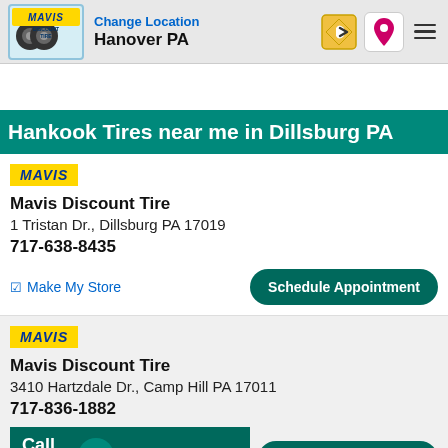Change Location
Hanover PA
Hankook Tires near me in Dillsburg PA
[Figure (logo): Mavis Discount Tire logo badge (yellow)]
Mavis Discount Tire
1 Tristan Dr., Dillsburg PA 17019
717-638-8435
Make My Store
Schedule Appointment
[Figure (logo): Mavis Discount Tire logo badge (yellow)]
Mavis Discount Tire
3410 Hartzdale Dr., Camp Hill PA 17011
717-836-1882
Call Store
Schedule Appointment